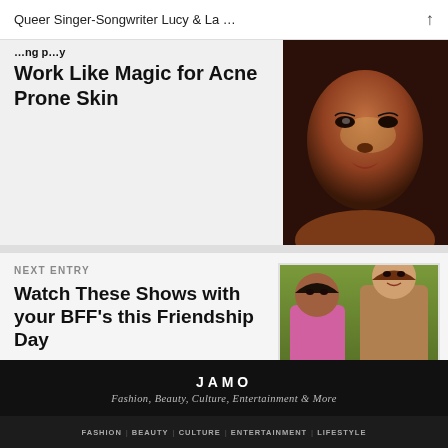Queer Singer-Songwriter Lucy & La …
Work Like Magic for Acne Prone Skin
[Figure (photo): Close-up photo of a dark-skinned woman's face with glowing skin]
NEXT ENTRY
Watch These Shows with your BFF's this Friendship Day
[Figure (photo): Two young women standing together, one in pink and one in brown, from a TV show]
JAMO
Fashion, Beauty, Culture, Entertainment & More
FASHION | BEAUTY | CULTURE | ENTERTAINMENT | LIFESTYLE